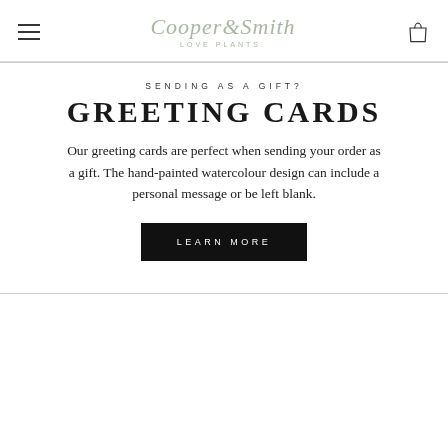Cooper & Smith LOVE PLANTS.
SENDING AS A GIFT?
GREETING CARDS
Our greeting cards are perfect when sending your order as a gift. The hand-painted watercolour design can include a personal message or be left blank.
LEARN MORE